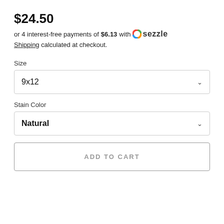$24.50
or 4 interest-free payments of $6.13 with Sezzle
Shipping calculated at checkout.
Size
9x12
Stain Color
Natural
ADD TO CART